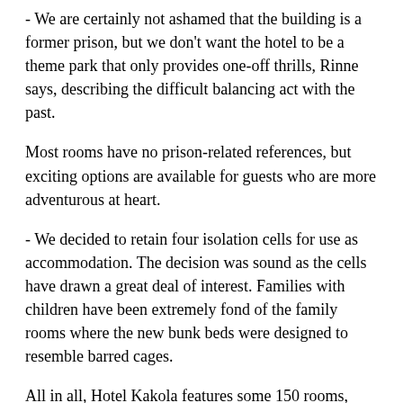- We are certainly not ashamed that the building is a former prison, but we don't want the hotel to be a theme park that only provides one-off thrills, Rinne says, describing the difficult balancing act with the past.
Most rooms have no prison-related references, but exciting options are available for guests who are more adventurous at heart.
- We decided to retain four isolation cells for use as accommodation. The decision was sound as the cells have drawn a great deal of interest. Families with children have been extremely fond of the family rooms where the new bunk beds were designed to resemble barred cages.
All in all, Hotel Kakola features some 150 rooms, among the most unusual of which is the premium suite being built in a sailing boat in the hotel's yard.